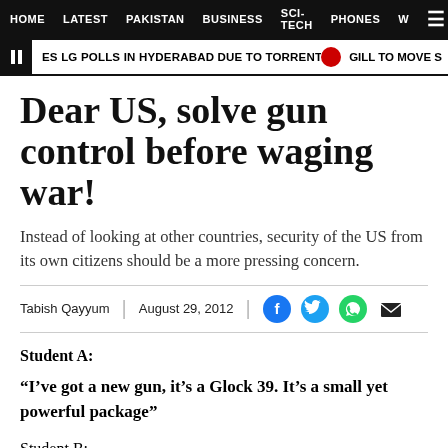HOME | LATEST | PAKISTAN | BUSINESS | SCI-TECH | PHONES | W ☰
ES LG POLLS IN HYDERABAD DUE TO TORRENTIAL DOWNPOURS • GILL TO MOVE S
Dear US, solve gun control before waging war!
Instead of looking at other countries, security of the US from its own citizens should be a more pressing concern.
Tabish Qayyum | August 29, 2012
Student A:
“I’ve got a new gun, it’s a Glock 39. It’s a small yet powerful package”
Student B: